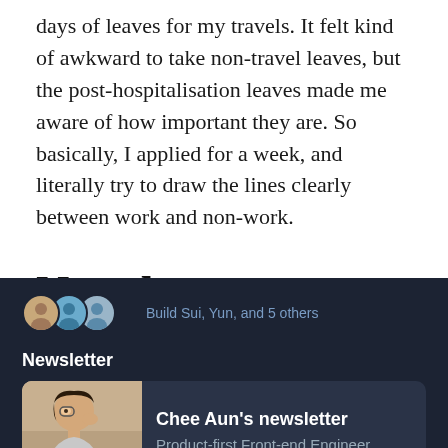days of leaves for my travels. It felt kind of awkward to take non-travel leaves, but the post-hospitalisation leaves made me aware of how important they are. So basically, I applied for a week, and literally try to draw the lines clearly between work and non-work.
Newsletter
On September, I started my own newsletter! 🔗
[Figure (screenshot): Dark-themed newsletter signup widget showing avatars, 'Build Sui, Yun, and 5 others' text, a 'Newsletter' heading, and a card for 'Chee Aun's newsletter' with subtitle 'Product-first Front-end Engineer.' and a profile photo.]